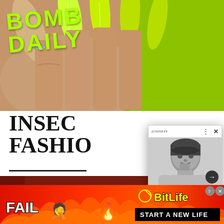[Figure (photo): Close-up photo of manicured nails with yellow-green color, hand in foreground. 'BOMB DAILY' text in neon green overlaid in top-left. Textured green background on right side.]
BOMB DAILY
[Figure (screenshot): Browser popup overlay showing a black and white portrait photo of an Asian woman with a bob haircut. Popup has a logo in top-left, three-dot menu and X close button at top-right, a dark arrow button at bottom-right, and a headline text below the image reading: Why The 'Clean Girl' Aesthetic Is Problematic - 21Ninety]
Why The 'Clean Girl' Aesthetic Is Problematic - 21Ninety
INSEC... FASHIO...
[Figure (photo): Bottom strip showing dark reddish-brown background, partial view of another article image]
[Figure (infographic): BitLife advertisement banner with red/orange flame background. Shows 'FAIL' text in white with black outline, blonde woman facepalm emoji, flame emoji, arrow/sperm logo, 'BitLife' logo in yellow, and black banner reading 'START A NEW LIFE'. Close (X) and help (?) buttons top-right.]